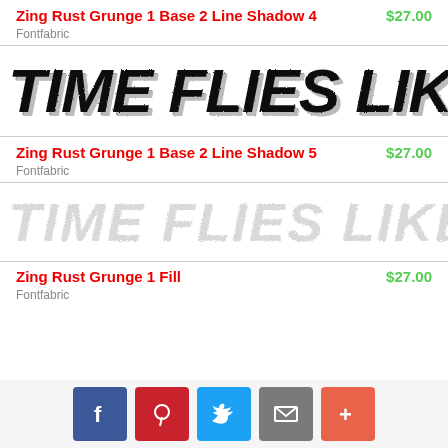Zing Rust Grunge 1 Base 2 Line Shadow 4
$27.00
Fontfabric
[Figure (illustration): Font preview showing 'TIME FLIES LIKE AN ARRO' in bold italic grunge style with line shadow effect]
Zing Rust Grunge 1 Base 2 Line Shadow 5
$27.00
Fontfabric
[Figure (illustration): Font preview showing 'TIME FLIES LIKE AN ARRO' in heavily distressed/textured grunge style]
Zing Rust Grunge 1 Fill
$27.00
Fontfabric
Social share buttons: Facebook, Pinterest, Twitter, Mail, More